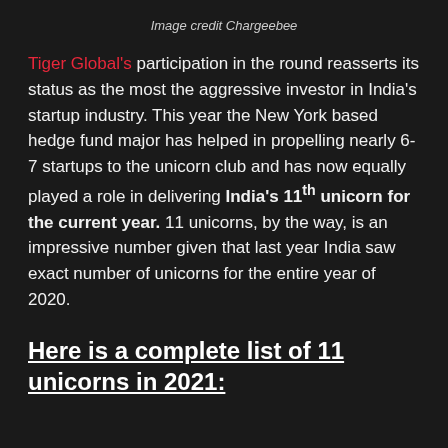Image credit Chargeebee
Tiger Global's participation in the round reasserts its status as the most the aggressive investor in India's startup industry. This year the New York based hedge fund major has helped in propelling nearly 6-7 startups to the unicorn club and has now equally played a role in delivering India's 11th unicorn for the current year. 11 unicorns, by the way, is an impressive number given that last year India saw exact number of unicorns for the entire year of 2020.
Here is a complete list of 11 unicorns in 2021: